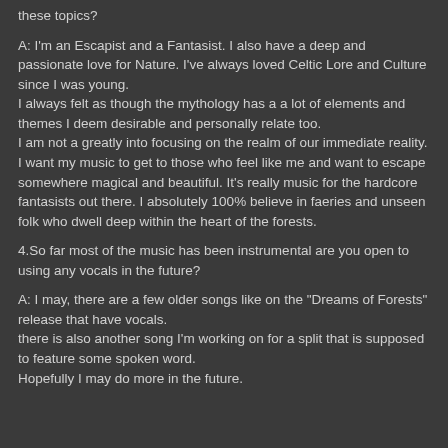these topics?
A: I'm an Escapist and a Fantasist. I also have a deep and passionate love for Nature. I've always loved Celtic Lore and Culture since I was young.
I always felt as though the mythology has a a lot of elements and themes I deem desirable and personally relate too.
I am not a greatly into focusing on the realm of our immediate reality. I want my music to get to those who feel like me and want to escape somewhere magical and beautiful. It's really music for the hardcore fantasists out there. I absolutely 100% believe in faeries and unseen folk who dwell deep within the heart of the forests.
4.So far most of the music has been instrumental are you open to using any vocals in the future?
A: I may, there are a few older songs like on the "Dreams of Forests" release that have vocals.
there is also another song I'm working on for a split that is supposed to feature some spoken word.
Hopefully I may do more in the future.